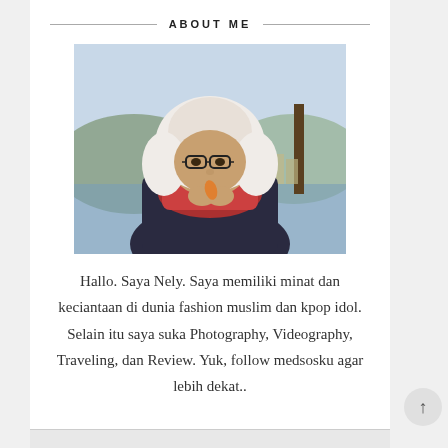ABOUT ME
[Figure (photo): Portrait photo of a young woman wearing a white hijab, red knitted scarf, and dark jacket. She has glasses and is holding something small (possibly a leaf or paper). Background shows a lake, hills, and trees in a scenic outdoor setting.]
Hallo. Saya Nely. Saya memiliki minat dan keciantaan di dunia fashion muslim dan kpop idol. Selain itu saya suka Photography, Videography, Traveling, dan Review. Yuk, follow medsosku agar lebih dekat..